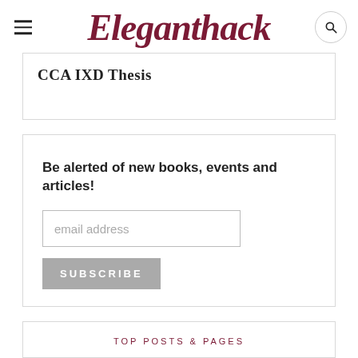Eleganthack
CCA IXD Thesis
Be alerted of new books, events and articles!
TOP POSTS & PAGES
The Art of the OKR